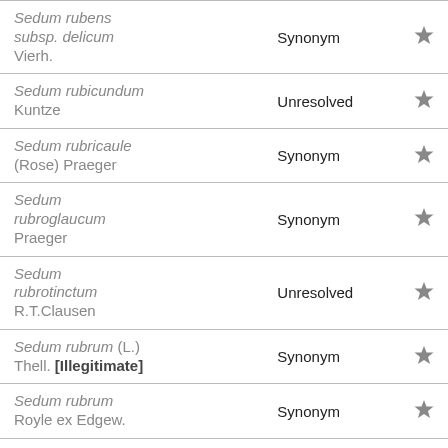| Name | Status |  |
| --- | --- | --- |
| Sedum rubens subsp. delicum Vierh. | Synonym | ★ |
| Sedum rubicundum Kuntze | Unresolved | ★ |
| Sedum rubricaule (Rose) Praeger | Synonym | ★ |
| Sedum rubroglaucum Praeger | Synonym | ★ |
| Sedum rubrotinctum R.T.Clausen | Unresolved | ★ |
| Sedum rubrum (L.) Thell. [Illegitimate] | Synonym | ★ |
| Sedum rubrum Royle ex Edgew. | Synonym | ★ |
| Sedum rufescens Ten. | Synonym | ★ |
| Sedum rupestre Scop. [Illegitimate] | Synonym | ★ |